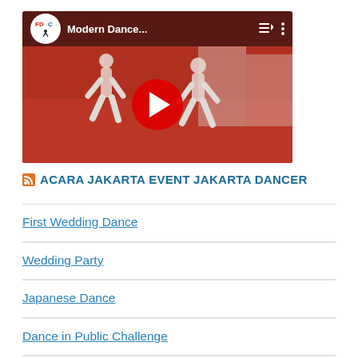[Figure (screenshot): YouTube video thumbnail showing 'Modern Dance...' with FDC channel logo, red play button overlay, and dancers on a red floor background.]
ACARA JAKARTA EVENT JAKARTA DANCER
First Wedding Dance
Wedding Party
Japanese Dance
Dance in Public Challenge
Traditional Dance Chinese